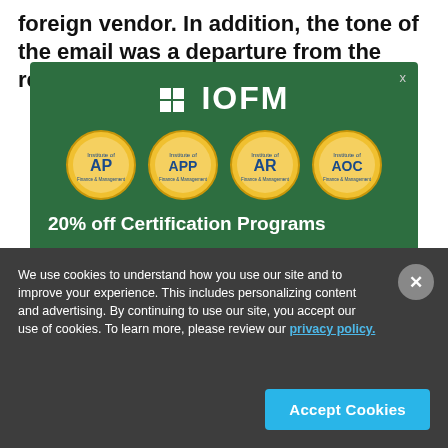foreign vendor. In addition, the tone of the email was a departure from the requestor's customary
[Figure (screenshot): IOFM modal advertisement on green chalkboard background showing logo with grid icon, four certification badge medallions (AP, APP, AR, AOC) and text '20% off Certification Programs']
We use cookies to understand how you use our site and to improve your experience. This includes personalizing content and advertising. By continuing to use our site, you accept our use of cookies. To learn more, please review our privacy policy.
Accept Cookies